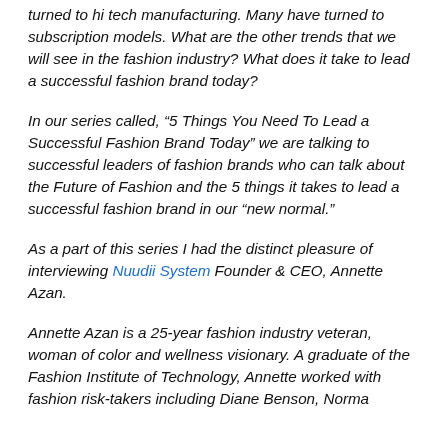turned to hi tech manufacturing. Many have turned to subscription models. What are the other trends that we will see in the fashion industry? What does it take to lead a successful fashion brand today?
In our series called, “5 Things You Need To Lead a Successful Fashion Brand Today” we are talking to successful leaders of fashion brands who can talk about the Future of Fashion and the 5 things it takes to lead a successful fashion brand in our “new normal.”
As a part of this series I had the distinct pleasure of interviewing Nuudii System Founder & CEO, Annette Azan.
Annette Azan is a 25-year fashion industry veteran, woman of color and wellness visionary. A graduate of the Fashion Institute of Technology, Annette worked with fashion risk-takers including Diane Benson, Norma